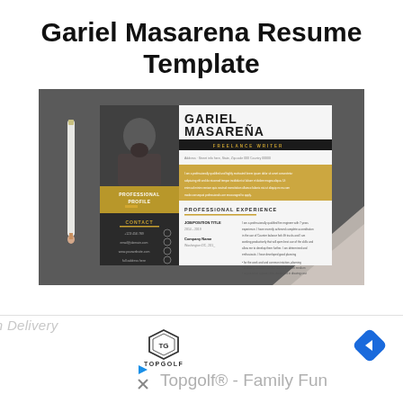Gariel Masarena Resume Template
[Figure (photo): A resume template design for Gariel Masareña, Freelance Writer, shown on a dark surface with a pencil and coffee cup nearby. The resume features a dark sidebar with a professional photo, gold/yellow accent band, and sections for Professional Profile, Contact, and Professional Experience.]
[Figure (screenshot): Advertisement strip at the bottom showing Topgolf logo with text 'Topgolf® - Family Fun', a play/close button icon, and a blue diamond navigation arrow on the right.]